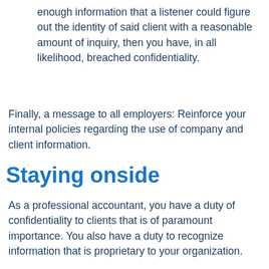enough information that a listener could figure out the identity of said client with a reasonable amount of inquiry, then you have, in all likelihood, breached confidentiality.
Finally, a message to all employers: Reinforce your internal policies regarding the use of company and client information.
Staying onside
As a professional accountant, you have a duty of confidentiality to clients that is of paramount importance. You also have a duty to recognize information that is proprietary to your organization.